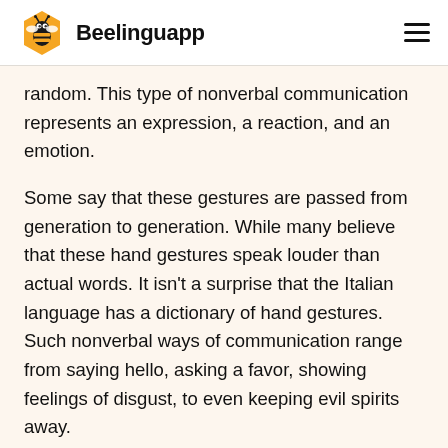Beelinguapp
random. This type of nonverbal communication represents an expression, a reaction, and an emotion.
Some say that these gestures are passed from generation to generation. While many believe that these hand gestures speak louder than actual words. It isn’t a surprise that the Italian language has a dictionary of hand gestures. Such nonverbal ways of communication range from saying hello, asking a favor, showing feelings of disgust, to even keeping evil spirits away.